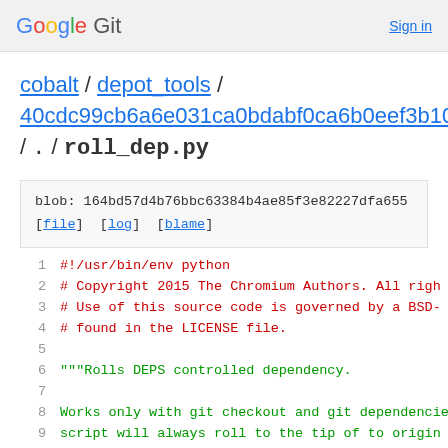Google Git   Sign in
cobalt / depot_tools / 40cdc99cb6a6e031ca0bdabf0ca6b0eef3b10947 / . / roll_dep.py
blob: 164bd57d4b76bbc63384b4ae85f3e82227dfa655
[file] [log] [blame]
1  #!/usr/bin/env python
2  # Copyright 2015 The Chromium Authors. All righ
3  # Use of this source code is governed by a BSD-
4  # found in the LICENSE file.
5
6  """Rolls DEPS controlled dependency.
7
8  Works only with git checkout and git dependencie
9  script will always roll to the tip of to origin
10 """